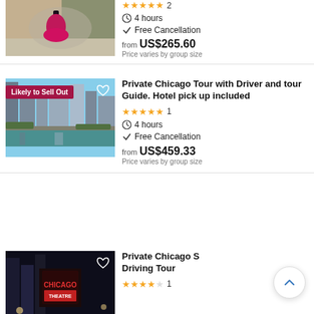[Figure (photo): Woman in pink/magenta dress at Chicago Cloud Gate sculpture]
2
4 hours
Free Cancellation
from US$265.60
Price varies by group size
[Figure (photo): Chicago River and skyline with Likely to Sell Out badge]
Private Chicago Tour with Driver and tour Guide. Hotel pick up included
1
4 hours
Free Cancellation
from US$459.33
Price varies by group size
[Figure (photo): Chicago theater district at night with neon signs]
Private Chicago S Driving Tour
1